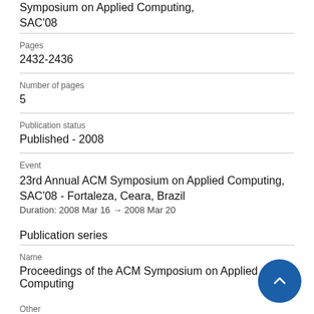Symposium on Applied Computing, SAC'08
Pages
2432-2436
Number of pages
5
Publication status
Published - 2008
Event
23rd Annual ACM Symposium on Applied Computing, SAC'08 - Fortaleza, Ceara, Brazil
Duration: 2008 Mar 16 → 2008 Mar 20
Publication series
Name
Proceedings of the ACM Symposium on Applied Computing
Other